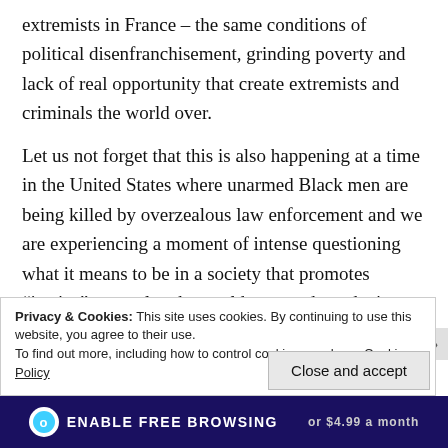extremists in France – the same conditions of political disenfranchisement, grinding poverty and lack of real opportunity that create extremists and criminals the world over.
Let us not forget that this is also happening at a time in the United States where unarmed Black men are being killed by overzealous law enforcement and we are experiencing a moment of intense questioning what it means to be in a society that promotes “justice” as a value the world over and yet denies that to our own citizens here
Privacy & Cookies: This site uses cookies. By continuing to use this website, you agree to their use.
To find out more, including how to control cookies, see here: Cookie Policy
Close and accept
ENABLE FREE BROWSING or $4.99 a month